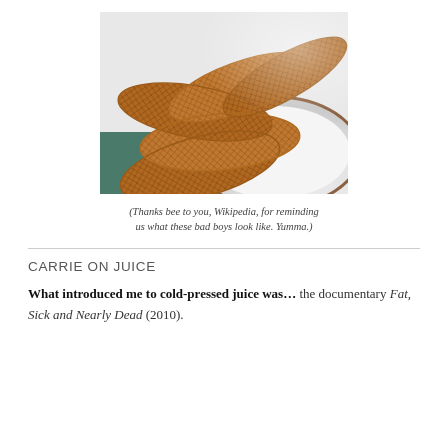[Figure (photo): A stack of stroopwafels (Dutch waffle cookies) arranged on a white plate with a dark rim, photographed from above at an angle. The waffles show a golden-brown waffle grid pattern.]
(Thanks bee to you, Wikipedia, for reminding us what these bad boys look like. Yumma.)
CARRIE ON JUICE
What introduced me to cold-pressed juice was… the documentary Fat, Sick and Nearly Dead (2010).